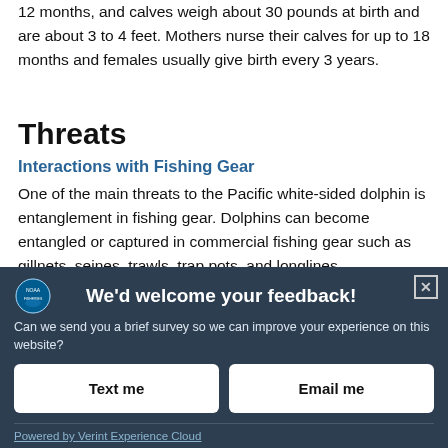12 months, and calves weigh about 30 pounds at birth and are about 3 to 4 feet. Mothers nurse their calves for up to 18 months and females usually give birth every 3 years.
Threats
Interactions with Fishing Gear
One of the main threats to the Pacific white-sided dolphin is entanglement in fishing gear. Dolphins can become entangled or captured in commercial fishing gear such as gillnets, seines, trawls, trap pots, and longlines.
[Figure (infographic): NOAA Fisheries feedback survey banner with logo, title 'We'd welcome your feedback!', subtitle asking about a brief survey, and two buttons labeled 'Text me' and 'Email me'. Footer reads 'Powered by Verint Experience Cloud'.]